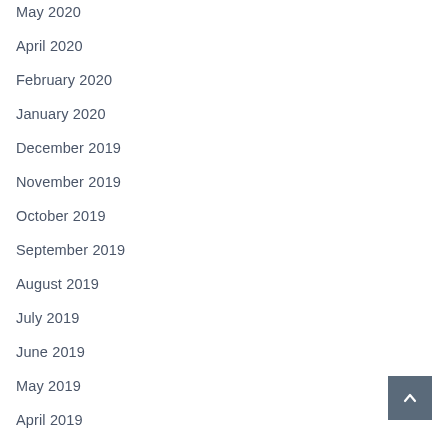May 2020
April 2020
February 2020
January 2020
December 2019
November 2019
October 2019
September 2019
August 2019
July 2019
June 2019
May 2019
April 2019